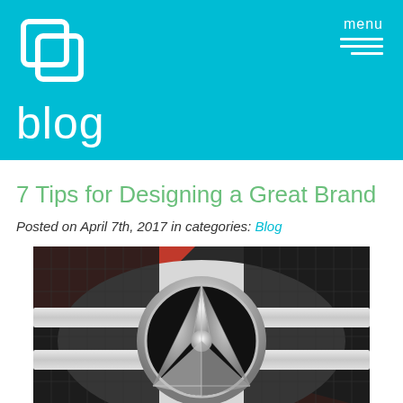blog
7 Tips for Designing a Great Brand
Posted on April 7th, 2017 in categories: Blog
[Figure (photo): Close-up photo of a Mercedes-Benz chrome logo/emblem on the front grille of a red car with black mesh grille visible in background]